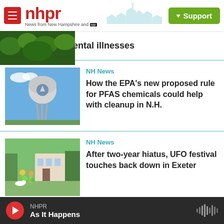nhpr — News from New Hampshire and NPR | Support
mental illnesses
NH News
How the EPA's new proposed rule for PFAS chemicals could help with cleanup in N.H.
NH News
After two-year hiatus, UFO festival touches back down in Exeter
Environment
yardwork
NHPR — As It Happens